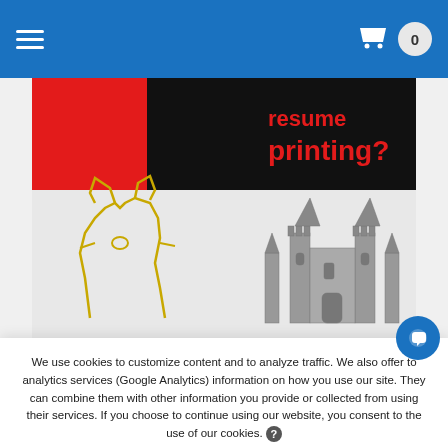[Figure (screenshot): Blue navigation bar with hamburger menu icon on left and shopping cart with badge showing 0 on right]
[Figure (screenshot): Website banner showing resume printing advertisement with red/black panels and text 'resume printing?', and 3D printed objects including a golden cat outline and a detailed castle model]
We use cookies to customize content and to analyze traffic. We also offer to analytics services (Google Analytics) information on how you use our site. They can combine them with other information you provide or collected from using their services. If you choose to continue using our website, you consent to the use of our cookies. ?
Required
Preferences
Statistics
Marketing
I ACCEPT